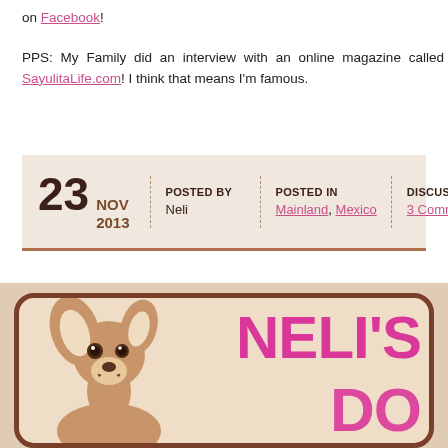on Facebook!
PPS: My Family did an interview with an online magazine called SayulitaLife.com! I think that means I'm famous.
| Date | Posted By | Posted In | Discussion |
| --- | --- | --- | --- |
| 23 NOV 2013 | Neli | Mainland, Mexico | 3 Comments |
[Figure (logo): Neli's blog logo featuring a chihuahua illustration on a beige/tan background with rounded brown border and pink text reading NELI'S]